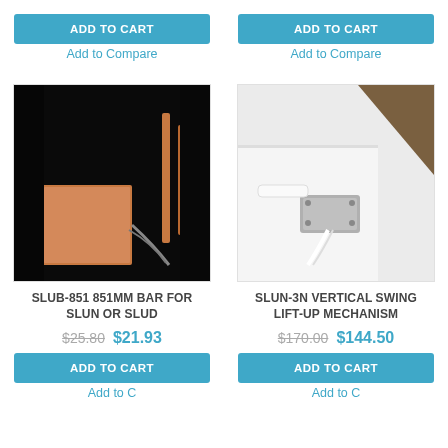ADD TO CART
Add to Compare
ADD TO CART
Add to Compare
[Figure (photo): SLUB-851 851mm bar product photo on black background]
SLUB-851 851MM BAR FOR SLUN OR SLUD
$25.80  $21.93
ADD TO CART
Add to Compare
[Figure (photo): SLUN-3N vertical swing lift-up mechanism product photo]
SLUN-3N VERTICAL SWING LIFT-UP MECHANISM
$170.00  $144.50
ADD TO CART
Add to Compare